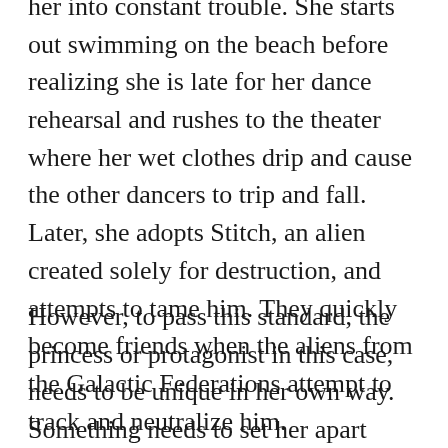her into constant trouble. She starts out swimming on the beach before realizing she is late for her dance rehearsal and rushes to the theater where her wet clothes drip and cause the other dancers to trip and fall. Later, she adopts Stitch, an alien created solely for destruction, and attempts to tame him. They quickly become friends when the aliens from the Galactic Federations attempt to track and neutralize him.
However, to pass this standard, the princess or protagonist in this case, needs to be unique in her own way. Something needs to set her apart from all the other Disney protagonists. Peter Pan was the spirit of youth, Simba was a